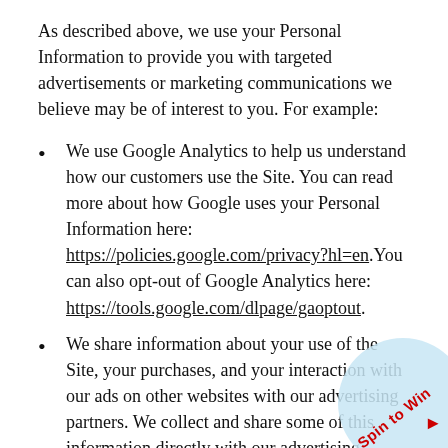As described above, we use your Personal Information to provide you with targeted advertisements or marketing communications we believe may be of interest to you. For example:
We use Google Analytics to help us understand how our customers use the Site. You can read more about how Google uses your Personal Information here: https://policies.google.com/privacy?hl=en.You can also opt-out of Google Analytics here: https://tools.google.com/dlpage/gaoptout.
We share information about your use of the Site, your purchases, and your interaction with our ads on other websites with our advertising partners. We collect and share some of this information directly with our advertising partners, and in some cases through the use of cookies or other